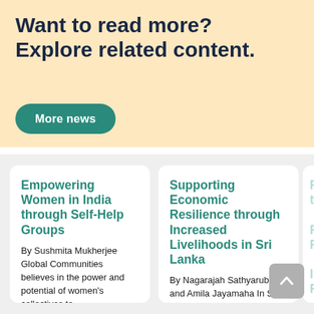Want to read more? Explore related content.
More news
Empowering Women in India through Self-Help Groups
By Sushmita Mukherjee Global Communities believes in the power and potential of women's collectives to
Supporting Economic Resilience through Increased Livelihoods in Sri Lanka
By Nagarajah Sathyaruban and Amila Jayamaha In Sri